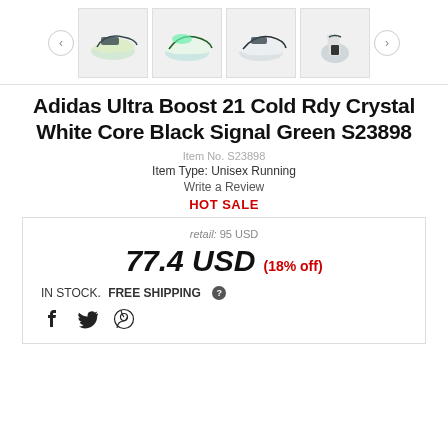[Figure (photo): Product image gallery strip showing four thumbnail views of Adidas Ultra Boost 21 Cold Rdy sneaker in crystal white/core black/signal green, with left and right navigation arrows]
Adidas Ultra Boost 21 Cold Rdy Crystal White Core Black Signal Green S23898
Item No. S23898
Item Type: Unisex Running
Write a Review
HOT SALE
retail: 95 USD
77.4 USD (18% off)
IN STOCK. FREE SHIPPING